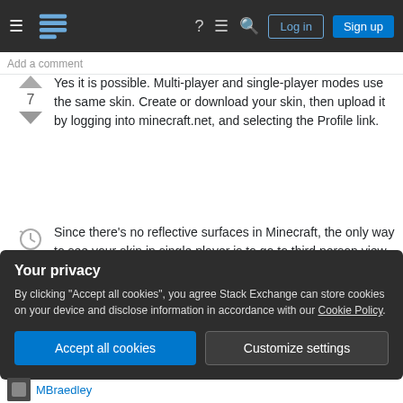Stack Exchange navigation bar with Log in and Sign up buttons
Add a comment
Yes it is possible. Multi-player and single-player modes use the same skin. Create or download your skin, then upload it by logging into minecraft.net, and selecting the Profile link.
Since there's no reflective surfaces in Minecraft, the only way to see your skin in single player is to go to third person view by pressing F5 (and again to switch back to first person view) or simply opening
Your privacy
By clicking "Accept all cookies", you agree Stack Exchange can store cookies on your device and disclose information in accordance with our Cookie Policy.
Accept all cookies
Customize settings
MBraedley